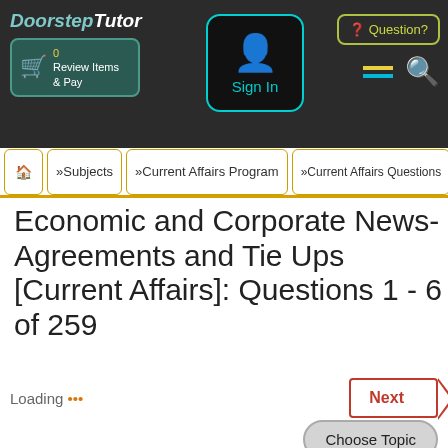DoorstepTutor | Sign In | Review Items & Pay | ? Question?
»Subjects »Current Affairs Program »Current Affairs Questions
Economic and Corporate News-Agreements and Tie Ups [Current Affairs]: Questions 1 - 6 of 259
Loading *** Next
Choose Topic
Access detailed explanations (illustrated with images and videos) to 12251 questions. Access all new questions- tracking exam pattern and syllabus. View the complete topic-wise distribution of questions. 3 Year Validity- Access Unlimited Times on Unlimited Devices.